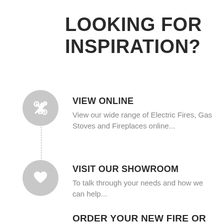LOOKING FOR INSPIRATION?
[Figure (illustration): Grey circle icon with crossed hammer and wrench tools (tools/settings icon)]
VIEW ONLINE
View our wide range of Electric Fires, Gas Stoves and Fireplaces online...
[Figure (illustration): Grey circle icon with a heart symbol inside]
VISIT OUR SHOWROOM
To talk through your needs and how we can help...
ORDER YOUR NEW FIRE OR